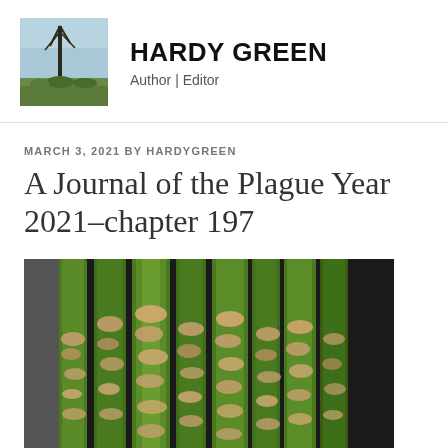HARDY GREEN
Author | Editor
MARCH 3, 2021 BY HARDYGREEN
A Journal of the Plague Year 2021–chapter 197
[Figure (photo): Close-up photograph of fresh green asparagus spears, showing the tips and scales in detail against a dark background.]